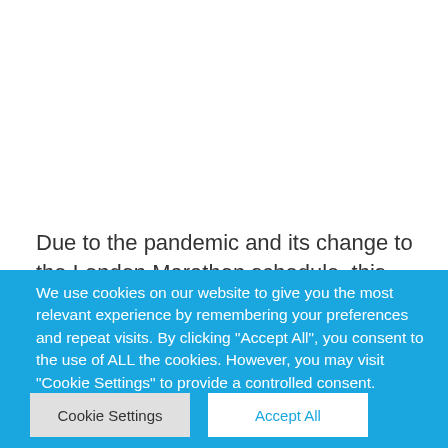Due to the pandemic and its change to the London Marathon schedule, this year's event will take place...
We use cookies on our website to give you the most relevant experience by remembering your preferences and repeat visits. By clicking "Accept All", you consent to the use of ALL the cookies. However, you may visit "Cookie Settings" to provide a controlled consent.